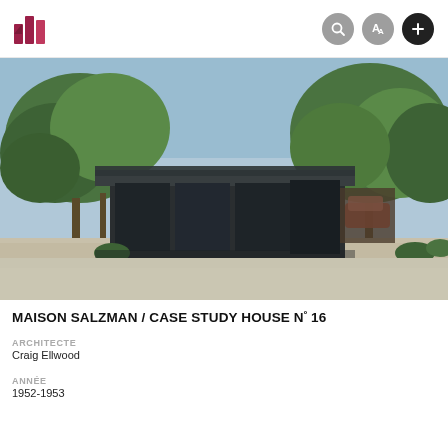Navigation bar with logo and icons
[Figure (photo): Exterior photograph of the Salzman House / Case Study House No. 16, a mid-century modern single-story residence with dark panel walls, flat roof, surrounded by mature green trees, with a driveway in the foreground.]
MAISON SALZMAN / CASE STUDY HOUSE Nº 16
ARCHITECTE
Craig Ellwood
ANNÉE
1952-1953